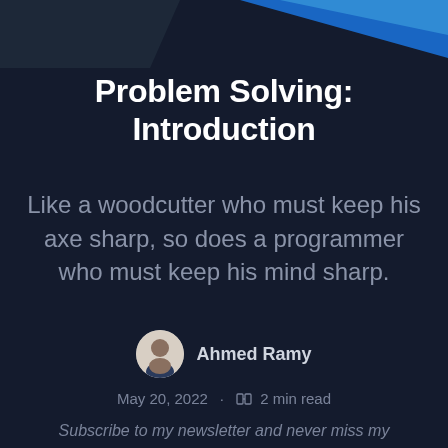[Figure (illustration): Dark background with blue gradient decorative banner at top]
Problem Solving: Introduction
Like a woodcutter who must keep his axe sharp, so does a programmer who must keep his mind sharp.
[Figure (photo): Circular avatar photo of Ahmed Ramy]
Ahmed Ramy
May 20, 2022 · 2 min read
Subscribe to my newsletter and never miss my